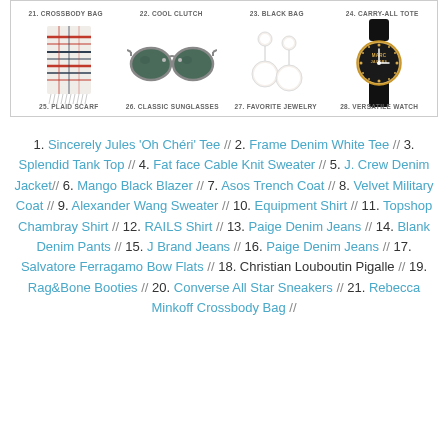[Figure (infographic): Product grid showing fashion accessories: items 21-28. Top row shows labels: 21. CROSSBODY BAG, 22. COOL CLUTCH, 23. BLACK BAG, 24. CARRY-ALL TOTE. Bottom row shows plaid scarf, classic sunglasses, pearl earrings, and a watch with labels: 25. PLAID SCARF, 26. CLASSIC SUNGLASSES, 27. FAVORITE JEWELRY, 28. VERSATILE WATCH.]
1. Sincerely Jules 'Oh Chéri' Tee // 2. Frame Denim White Tee // 3. Splendid Tank Top // 4. Fat face Cable Knit Sweater // 5. J. Crew Denim Jacket// 6. Mango Black Blazer // 7. Asos Trench Coat // 8. Velvet Military Coat // 9. Alexander Wang Sweater // 10. Equipment Shirt // 11. Topshop Chambray Shirt // 12. RAILS Shirt // 13. Paige Denim Jeans // 14. Blank Denim Pants // 15. J Brand Jeans // 16. Paige Denim Jeans // 17. Salvatore Ferragamo Bow Flats // 18. Christian Louboutin Pigalle // 19. Rag&Bone Booties // 20. Converse All Star Sneakers // 21. Rebecca Minkoff Crossbody Bag // 22. Clare Vivier Clutch // 23. Michael Kors Selma Bag // 24.